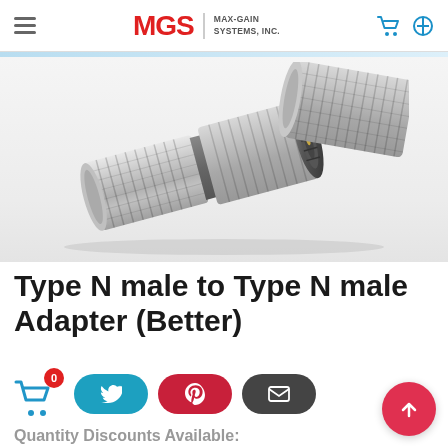MGS MAX-GAIN SYSTEMS, INC.
[Figure (photo): Two Type N male RF connector adapters made of nickel-plated metal with knurled grip surfaces, shown on a white background. One connector is lying flat showing the front face with internal contacts, the other shows the side profile.]
Type N male to Type N male Adapter (Better)
Quantity Discounts Available: